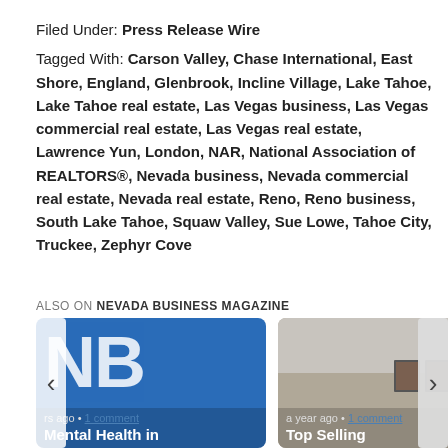Filed Under: Press Release Wire
Tagged With: Carson Valley, Chase International, East Shore, England, Glenbrook, Incline Village, Lake Tahoe, Lake Tahoe real estate, Las Vegas business, Las Vegas commercial real estate, Las Vegas real estate, Lawrence Yun, London, NAR, National Association of REALTORS®, Nevada business, Nevada commercial real estate, Nevada real estate, Reno, Reno business, South Lake Tahoe, Squaw Valley, Sue Lowe, Tahoe City, Truckee, Zephyr Cove
ALSO ON NEVADA BUSINESS MAGAZINE
[Figure (photo): NB logo on blue background card with overlay text 'rs ago • 1 comment' and title 'Mental Health in']
[Figure (photo): Interior room photo card with overlay text 'a year ago • 1 comment' and title 'Top Selling']